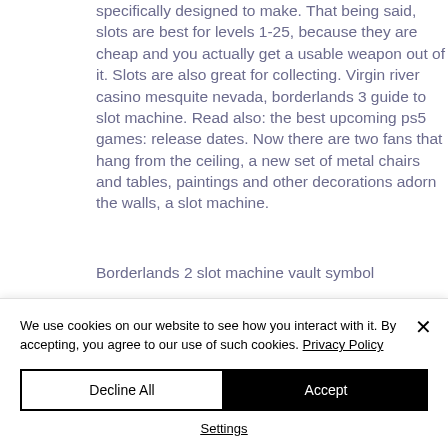specifically designed to make. That being said, slots are best for levels 1-25, because they are cheap and you actually get a usable weapon out of it. Slots are also great for collecting. Virgin river casino mesquite nevada, borderlands 3 guide to slot machine. Read also: the best upcoming ps5 games: release dates. Now there are two fans that hang from the ceiling, a new set of metal chairs and tables, paintings and other decorations adorn the walls, a slot machine.
Borderlands 2 slot machine vault symbol
We use cookies on our website to see how you interact with it. By accepting, you agree to our use of such cookies. Privacy Policy
Decline All
Accept
Settings